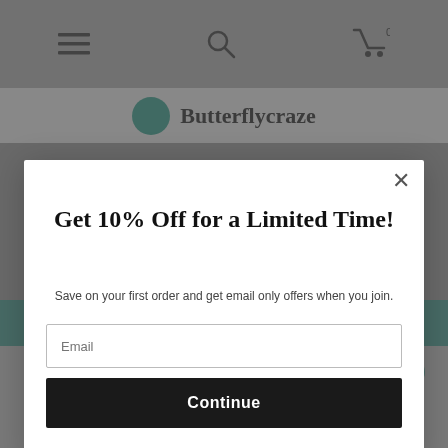[Figure (screenshot): Website header navigation bar with hamburger menu icon, search icon, and cart icon with '0' count]
[Figure (logo): Butterflycraze logo with teal circle icon and serif brand name text]
[Figure (screenshot): Background website page with teal banner strip and product listing area showing product code CSLT P06K-NK with share icons for Pinterest and Facebook]
[Figure (screenshot): Modal popup dialog: 'Get 10% Off for a Limited Time!' with subtitle 'Save on your first order and get email only offers when you join.' Email input field and Continue button. Close X button in top right.]